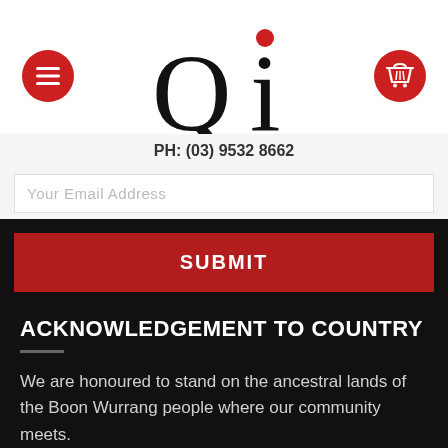[Figure (logo): Qi logo with large serif Q and i with red dot, underlined with a curved stroke, flanked by red circular menu and cart buttons]
PH: (03) 9532 8662
Your Email Address
SUBMIT
ACKNOWLEDGEMENT TO COUNTRY
We are honoured to stand on the ancestral lands of the Boon Wurrang people where our community meets.